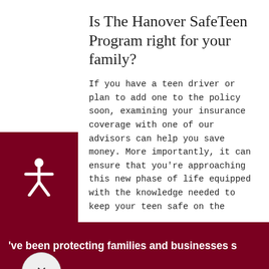Is The Hanover SafeTeen Program right for your family?
If you have a teen driver or plan to add one to the policy soon, examining your insurance coverage with one of our advisors can help you save money. More importantly, it can ensure that you’re approaching this new phase of life equipped with the knowledge needed to keep your teen safe on the
've been protecting families and businesses s
Personal Insurance
Business Insurance